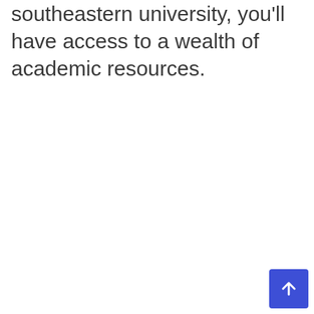southeastern university, you'll have access to a wealth of academic resources.
[Figure (other): Blue rounded square button with a white upward-pointing arrow icon, positioned at the bottom-right corner of the page.]